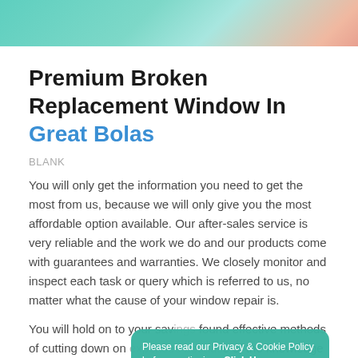[Figure (photo): Decorative header image with teal/mint tones and a person in the corner]
Premium Broken Replacement Window In Great Bolas
BLANK
You will only get the information you need to get the most from us, because we will only give you the most affordable option available. Our after-sales service is very reliable and the work we do and our products come with guarantees and warranties. We closely monitor and inspect each task or query which is referred to us, no matter what the cause of your window repair is.
You will hold on to your savings found effective methods of cutting down on expenses because of the knowledge we have gained working onsite for many years find out how much less it'll cost you to get your window fixed
Please read our Privacy & Cookie Policy before continuing. Click Here
Decline
Accept